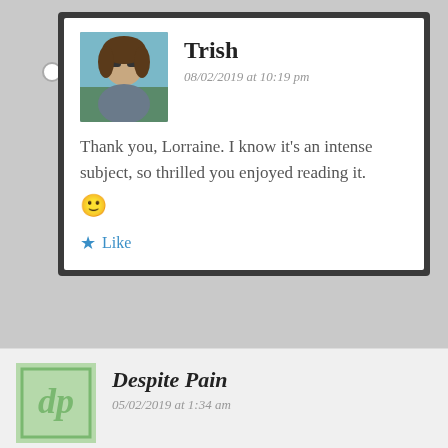Trish
08/02/2019 at 10:19 pm
Thank you, Lorraine. I know it’s an intense subject, so thrilled you enjoyed reading it. 🙂
★ Like
Despite Pain
05/02/2019 at 1:34 am
I love your story. It’s so emotive and shows that it takes just one person to stand up, and others will follow. It’s